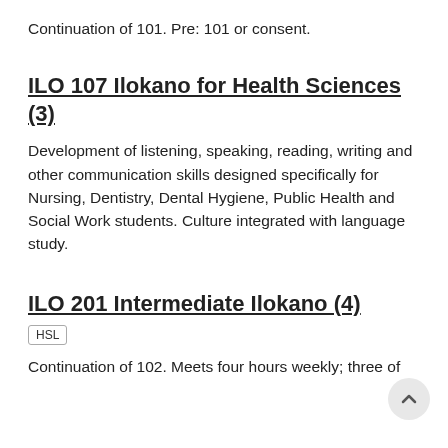Continuation of 101. Pre: 101 or consent.
ILO 107 Ilokano for Health Sciences (3)
Development of listening, speaking, reading, writing and other communication skills designed specifically for Nursing, Dentistry, Dental Hygiene, Public Health and Social Work students. Culture integrated with language study.
ILO 201 Intermediate Ilokano (4)
HSL
Continuation of 102. Meets four hours weekly; three of